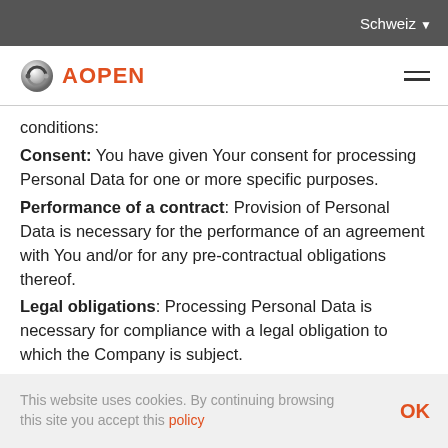Schweiz ▼
[Figure (logo): AOPEN logo with circular silver icon and orange text]
conditions:
Consent: You have given Your consent for processing Personal Data for one or more specific purposes.
Performance of a contract: Provision of Personal Data is necessary for the performance of an agreement with You and/or for any pre-contractual obligations thereof.
Legal obligations: Processing Personal Data is necessary for compliance with a legal obligation to which the Company is subject.
Vital interests: Processing Personal Data is necessary in order to protect Your vital interests or of another
This website uses cookies. By continuing browsing this site you accept this policy   OK